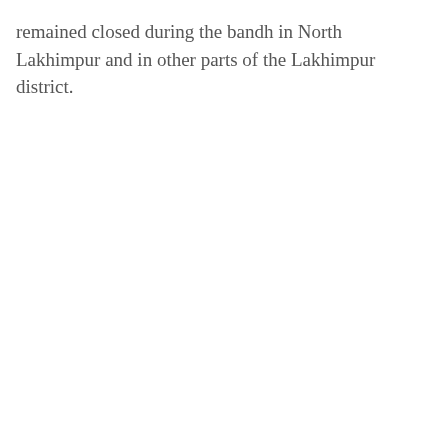remained closed during the bandh in North Lakhimpur and in other parts of the Lakhimpur district.